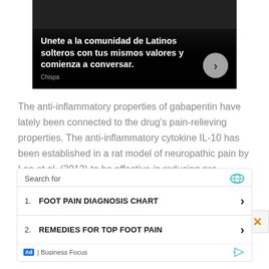[Figure (photo): Advertisement banner with dark background, showing text about Latino dating community (Chispa ad) with a circular arrow button.]
The anti-inflammatory properties of gabapentin have lately been connected to the drug's pain-relieving properties. The anti-inflammatory cytokine IL-10 has been established in a rat model of neuropathic pain by Lee et al. (2013) to be effective in reducing pro-
[Figure (screenshot): Search advertisement block with 'Search for' header and two results: 1. FOOT PAIN DIAGNOSIS CHART, 2. REMEDIES FOR TOP FOOT PAIN, with Business Focus branding at bottom.]